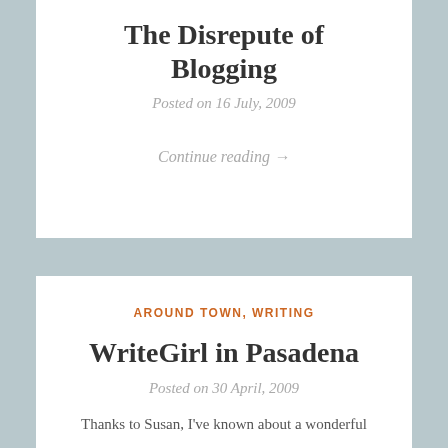The Disrepute of Blogging
Posted on 16 July, 2009
Continue reading →
AROUND TOWN, WRITING
WriteGirl in Pasadena
Posted on 30 April, 2009
Thanks to Susan, I've known about a wonderful